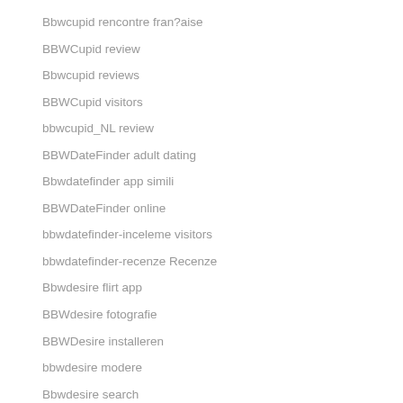Bbwcupid rencontre fran?aise
BBWCupid review
Bbwcupid reviews
BBWCupid visitors
bbwcupid_NL review
BBWDateFinder adult dating
Bbwdatefinder app simili
BBWDateFinder online
bbwdatefinder-inceleme visitors
bbwdatefinder-recenze Recenze
Bbwdesire flirt app
BBWdesire fotografie
BBWDesire installeren
bbwdesire modere
Bbwdesire search